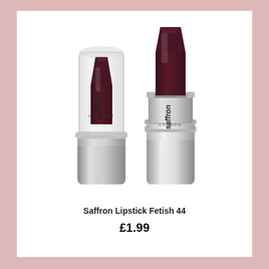[Figure (photo): Two Saffron London lipsticks in shade Fetish 44 (dark burgundy/brown). One lipstick is shown with a clear cap on, the other is uncapped with the bullet extended. Both have silver metallic cases with 'saffron LONDON' branding.]
Saffron Lipstick Fetish 44
£1.99